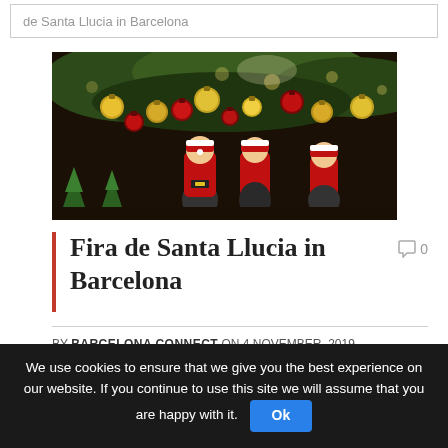de Santa Llucia in Barcelona
[Figure (photo): Christmas market stall decorated with gold and red ornament balls, Santa Claus figurines, and festive decorations hanging from the ceiling, with green foliage in background]
Fira de Santa Llucia in Barcelona
0
BY BARCELONA CONNECT ON 4 NOVEMBER, 2019
We use cookies to ensure that we give you the best experience on our website. If you continue to use this site we will assume that you are happy with it. Ok